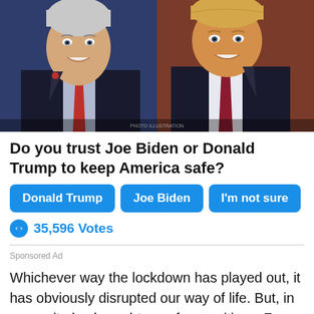[Figure (photo): Side-by-side photos of Joe Biden on the left against a blue background and Donald Trump on the right against a red-brown background, both in suits and ties, smiling.]
Do you trust Joe Biden or Donald Trump to keep America safe?
Donald Trump
Joe Biden
I'm not sure
35,596 Votes
Sponsored Ad
Whichever way the lockdown has played out, it has obviously disrupted our way of life. But, in a way, it also brought us a few positives. For one, it gave us more time not just for our loved ones – but more importantly, for ourselves.